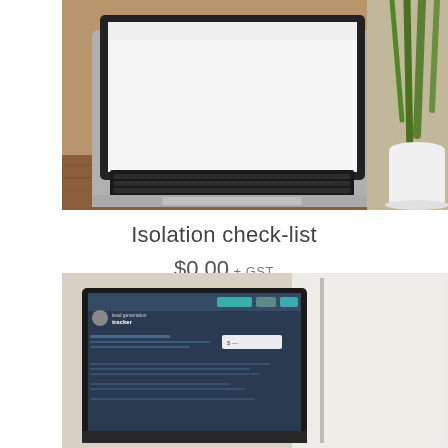[Figure (photo): Photo of a laptop on a wooden desk with a plant in a white vase in the background, viewed from above at an angle]
Isolation check-list
$0.00 + GST
Add to cart
[Figure (photo): Photo of a laptop showing a 'lead generation tracker' webpage, with a notebook and coffee cup on a desk]